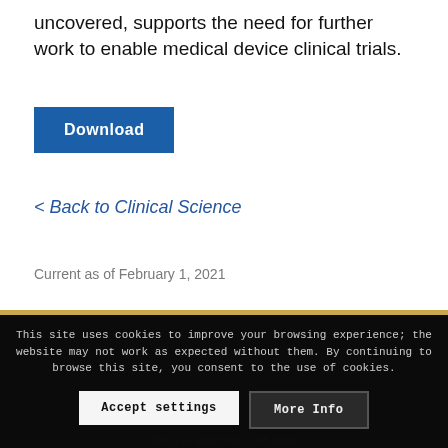uncovered, supports the need for further work to enable medical device clinical trials.
Download
< Back to Clinical Science
Current as of February 1, 2021
This site uses cookies to improve your browsing experience; the website may not work as expected without them. By continuing to browse this site, you consent to the use of cookies.
Accept settings
More Info
1655 N Ft. Myer Drive, 13th Floor...